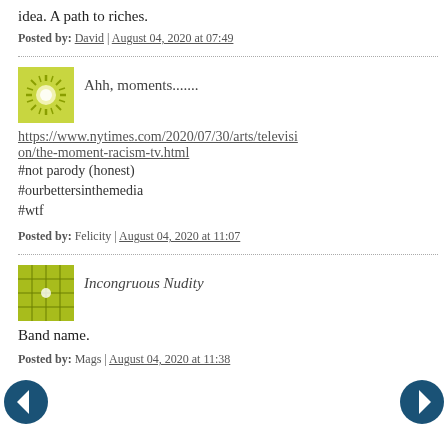idea. A path to riches.
Posted by: David | August 04, 2020 at 07:49
[Figure (illustration): Green sunburst avatar icon for commenter Felicity]
Ahh, moments.......
https://www.nytimes.com/2020/07/30/arts/television/the-moment-racism-tv.html
#not parody (honest)
#ourbettersinthemedia
#wtf
Posted by: Felicity | August 04, 2020 at 11:07
[Figure (illustration): Green grid pattern avatar icon for commenter Mags]
Incongruous Nudity
Band name.
Posted by: Mags | August 04, 2020 at 11:38